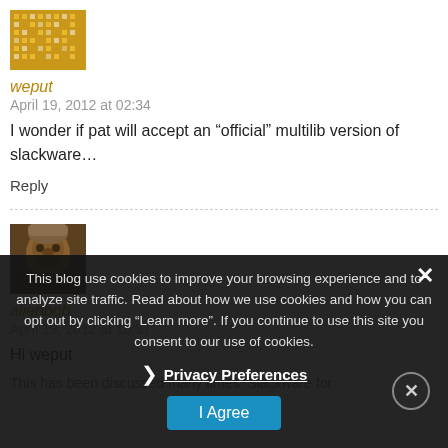[Figure (illustration): Avatar image for user weput - golden/yellow pixelated pattern]
weput
April 19, 2012 at 02:34
I wonder if pat will accept an “official” multilib version of slackware…
Reply
[Figure (photo): Avatar image for user alienbob - dark toned face photo]
alienbob
April 19, 2012 at 10:37
Hi weput
This has been discussed many times. Slackware for
This blog use cookies to improve your browsing experience and to analyze site traffic. Read about how we use cookies and how you can opt out by clicking “Learn more”. If you continue to use this site you consent to our use of cookies.
Privacy Preferences
I Agree